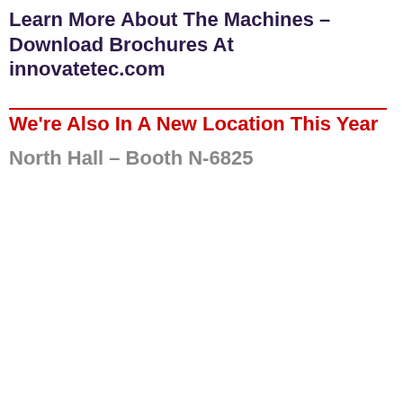Learn More About The Machines – Download Brochures At innovatetec.com
We're Also In A New Location This Year
North Hall – Booth N-6825